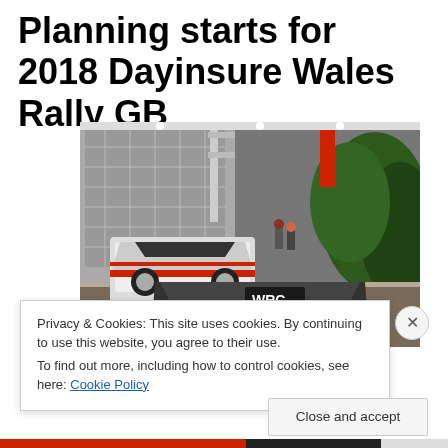Planning starts for 2018 Dayinsure Wales Rally GB
[Figure (photo): Rally cars including a WRC-branded Citroën and a Toyota displayed at an indoor motor show exhibit with decorative foliage and truss structures in the background.]
Privacy & Cookies: This site uses cookies. By continuing to use this website, you agree to their use.
To find out more, including how to control cookies, see here: Cookie Policy
Close and accept